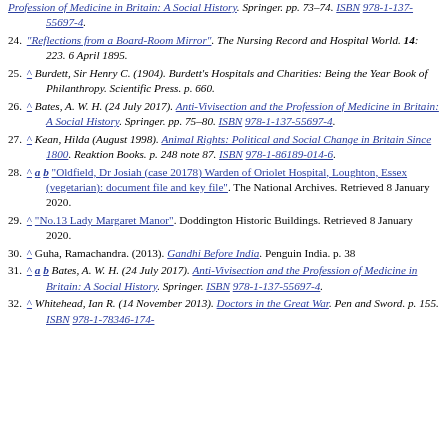24. ^ "Reflections from a Board-Room Mirror". The Nursing Record and Hospital World. 14: 223. 6 April 1895.
25. ^ Burdett, Sir Henry C. (1904). Burdett's Hospitals and Charities: Being the Year Book of Philanthropy. Scientific Press. p. 660.
26. ^ Bates, A. W. H. (24 July 2017). Anti-Vivisection and the Profession of Medicine in Britain: A Social History. Springer. pp. 75–80. ISBN 978-1-137-55697-4.
27. ^ Kean, Hilda (August 1998). Animal Rights: Political and Social Change in Britain Since 1800. Reaktion Books. p. 248 note 87. ISBN 978-1-86189-014-6.
28. ^ a b "Oldfield, Dr Josiah (case 20178) Warden of Oriolet Hospital, Loughton, Essex (vegetarian): document file and key file". The National Archives. Retrieved 8 January 2020.
29. ^ "No.13 Lady Margaret Manor". Doddington Historic Buildings. Retrieved 8 January 2020.
30. ^ Guha, Ramachandra. (2013). Gandhi Before India. Penguin India. p. 38
31. ^ a b Bates, A. W. H. (24 July 2017). Anti-Vivisection and the Profession of Medicine in Britain: A Social History. Springer. ISBN 978-1-137-55697-4.
32. ^ Whitehead, Ian R. (14 November 2013). Doctors in the Great War. Pen and Sword. p. 155. ISBN 978-1-78346-174-